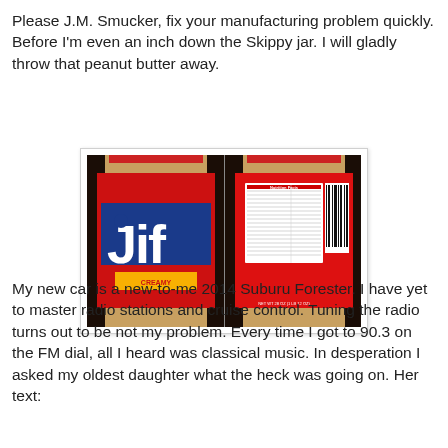Please J.M. Smucker, fix your manufacturing problem quickly. Before I'm even an inch down the Skippy jar. I will gladly throw that peanut butter away.
[Figure (photo): Two views of a Jif Creamy Peanut Butter jar — front label showing the Jif logo on a blue and red label, and back label showing nutrition facts and barcode, both with red lids.]
My new car is a new-to-me 2014 Suburu Forester. I have yet to master radio stations and cruise control. Tuning the radio turns out to be not my problem. Every time I got to 90.3 on the FM dial, all I heard was classical music. In desperation I asked my oldest daughter what the heck was going on. Her text: